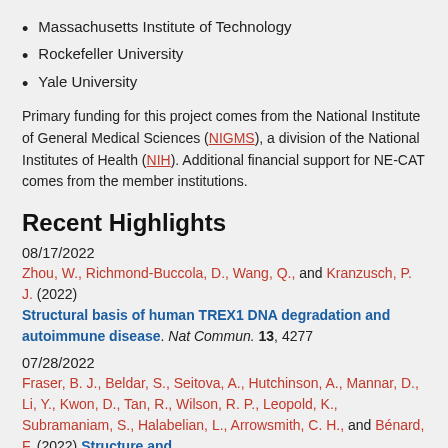Massachusetts Institute of Technology
Rockefeller University
Yale University
Primary funding for this project comes from the National Institute of General Medical Sciences (NIGMS), a division of the National Institutes of Health (NIH). Additional financial support for NE-CAT comes from the member institutions.
Recent Highlights
08/17/2022
Zhou, W., Richmond-Buccola, D., Wang, Q., and Kranzusch, P. J. (2022) Structural basis of human TREX1 DNA degradation and autoimmune disease. Nat Commun. 13, 4277
07/28/2022
Fraser, B. J., Beldar, S., Seitova, A., Hutchinson, A., Mannar, D., Li, Y., Kwon, D., Tan, R., Wilson, R. P., Leopold, K., Subramaniam, S., Halabelian, L., Arrowsmith, C. H., and Bénard, F. (2022) Structure and activity of human TMPRSS2 protease implicated in SARS-CoV-2...